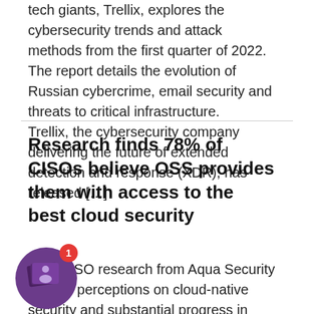tech giants, Trellix, explores the cybersecurity trends and attack methods from the first quarter of 2022. The report details the evolution of Russian cybercrime, email security and threats to critical infrastructure.   Trellix, the cybersecurity company delivering the future of extended detection and response (XDR), has released […]
Research finds 78% of CISOs believe OSS provides them with access to the best cloud security
New CISO research from Aqua Security reveals perceptions on cloud-native security and substantial progress in understanding benefits of open-source security. Aqua Security has issued research that shows that nearly 70% of Chief Information Security